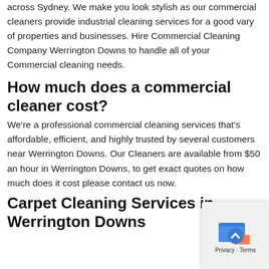across Sydney. We make you look stylish as our commercial cleaners provide industrial cleaning services for a good vary of properties and businesses. Hire Commercial Cleaning Company Werrington Downs to handle all of your Commercial cleaning needs.
How much does a commercial cleaner cost?
We're a professional commercial cleaning services that's affordable, efficient, and highly trusted by several customers near Werrington Downs. Our Cleaners are available from $50 an hour in Werrington Downs, to get exact quotes on how much does it cost please contact us now.
Carpet Cleaning Services in Werrington Downs